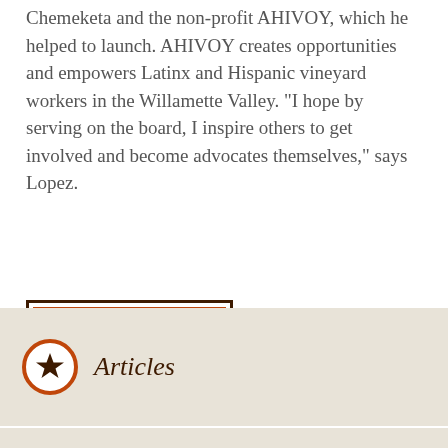Chemeketa and the non-profit AHIVOY, which he helped to launch. AHIVOY creates opportunities and empowers Latinx and Hispanic vineyard workers in the Willamette Valley. "I hope by serving on the board, I inspire others to get involved and become advocates themselves," says Lopez.
ALL NEWS
Articles